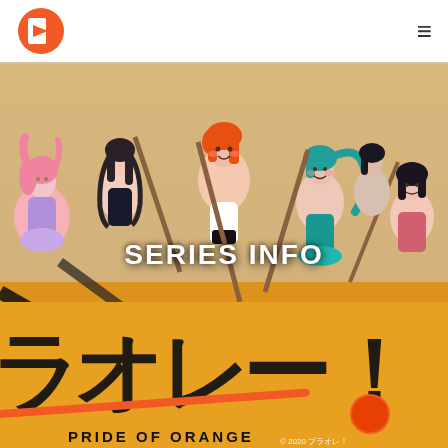[Figure (illustration): Anime-style illustration of six female characters holding ice hockey sticks against a golden/orange background. Center overlay text reads SERIES INFO in bold white letters. Bottom section shows large Japanese katakana characters and the text PRIDE OF ORANGE with an orange hockey stick graphic. Copyright 2020 text in bottom right.]
SERIES INFO
PRIDE OF ORANGE
© 2020 プラオレ！